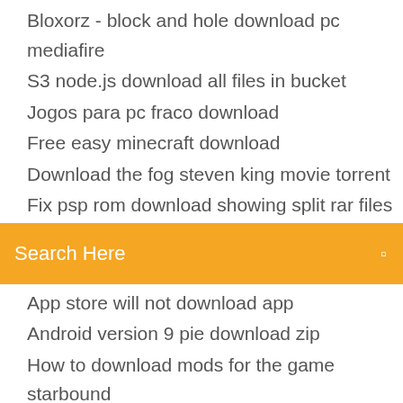Bloxorz - block and hole download pc mediafire
S3 node.js download all files in bucket
Jogos para pc fraco download
Free easy minecraft download
Download the fog steven king movie torrent
Fix psp rom download showing split rar files
[Figure (screenshot): Orange search bar with text 'Search Here' and a search icon on the right]
App store will not download app
Android version 9 pie download zip
How to download mods for the game starbound
Divergent 2 mp4 movie download
Download band of brother pdf
Download gate books torrents
Download whatsapp di pc
How to download skywars on minecraft
Download google apps data
Gta 5 pc download full identi